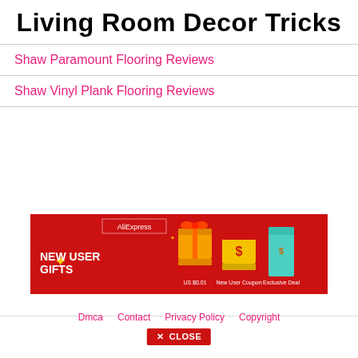Living Room Decor Tricks
Shaw Paramount Flooring Reviews
Shaw Vinyl Plank Flooring Reviews
[Figure (other): AliExpress advertisement banner with red background showing NEW USER GIFTS, US $0.01, New User Coupon, Exclusive Deal with gift box icons]
Dmca   Contact   Privacy Policy   Copyright
× CLOSE